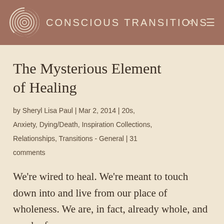CONSCIOUS TRANSITIONS
The Mysterious Element of Healing
by Sheryl Lisa Paul | Mar 2, 2014 | 20s, Anxiety, Dying/Death, Inspiration Collections, Relationships, Transitions - General | 31 comments
We’re wired to heal. We’re meant to touch down into and live from our place of wholeness. We are, in fact, already whole, and much of